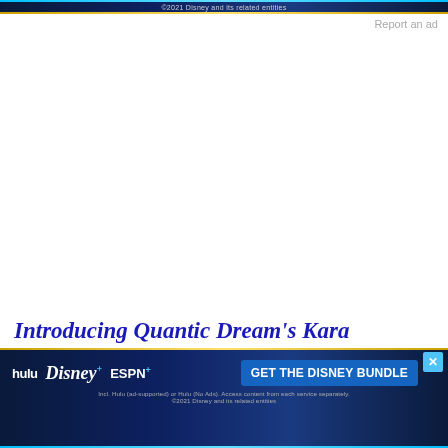[Figure (screenshot): Disney bundle advertisement banner at top showing Hulu, Disney+, ESPN+ logos with copyright 2021 Disney text]
Report an ad
Introducing Quantic Dream's Kara
[Figure (other): Close/dismiss button (X in circle)]
Report an ad
[Figure (screenshot): Disney bundle advertisement banner at bottom with GET THE DISNEY BUNDLE button, Hulu Disney+ ESPN+ logos, incl. Hulu (ad-supported) or Hulu (No Ads). Access content from each service separately. 2021 Disney and its related entities]